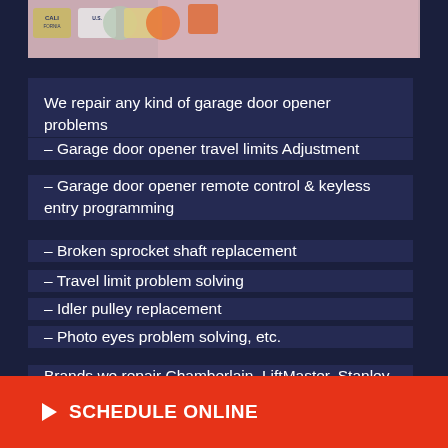[Figure (photo): Partial view of a person wearing patches/badges, California and U.S. themed stickers visible, on a pink/light background]
We repair any kind of garage door opener problems
– Garage door opener travel limits Adjustment
– Garage door opener remote control & keyless entry programming
– Broken sprocket shaft replacement
– Travel limit problem solving
– Idler pulley replacement
– Photo eyes problem solving, etc.
Brands we repair Chamberlain, LiftMaster, Stanley, Genie, Mastercraft, Sears, Marantec, etc.
► SCHEDULE ONLINE